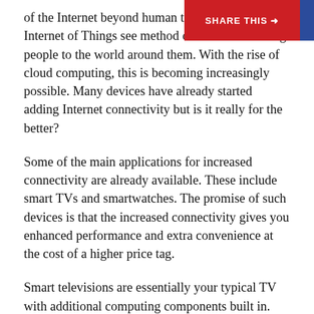SHARE THIS →
of the Internet beyond human to Instead, the Internet of Things see method of better connecting people to the world around them. With the rise of cloud computing, this is becoming increasingly possible. Many devices have already started adding Internet connectivity but is it really for the better?
Some of the main applications for increased connectivity are already available. These include smart TVs and smartwatches. The promise of such devices is that the increased connectivity gives you enhanced performance and extra convenience at the cost of a higher price tag.
Smart televisions are essentially your typical TV with additional computing components built in. Many Americans are no longer subscribing to cable services